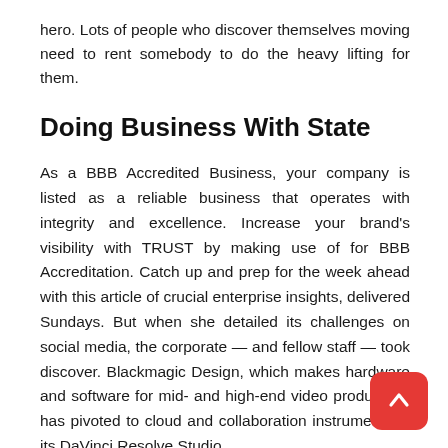hero. Lots of people who discover themselves moving need to rent somebody to do the heavy lifting for them.
Doing Business With State
As a BBB Accredited Business, your company is listed as a reliable business that operates with integrity and excellence. Increase your brand’s visibility with TRUST by making use of for BBB Accreditation. Catch up and prep for the week ahead with this article of crucial enterprise insights, delivered Sundays. But when she detailed its challenges on social media, the corporate — and fellow staff — took discover. Blackmagic Design, which makes hardware and software for mid- and high-end video production, has pivoted to cloud and collaboration instruments in its DaVinci Resolve Studio.
[Figure (other): Red rounded square button with upward-pointing arrow (scroll-to-top UI element)]